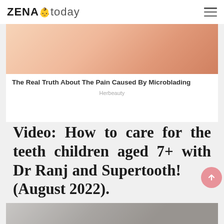ZENA today
[Figure (photo): Close-up photo of skin with small blemishes or freckles, promoting a microblading article]
The Real Truth About The Pain Caused By Microblading
Herbeauty
Video: How to care for the teeth children aged 7+ with Dr Ranj and Supertooth! (August 2022).
[Figure (photo): Partial view of a video thumbnail at the bottom of the page]